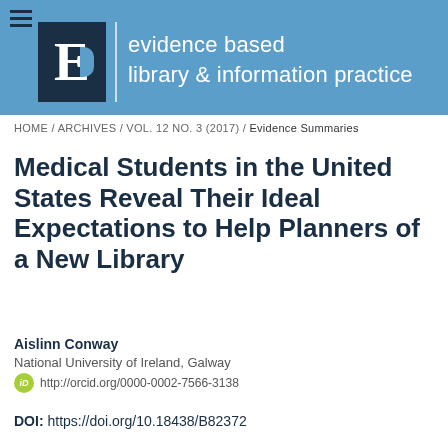evidence based library & information practice
HOME / ARCHIVES / VOL. 12 NO. 3 (2017) / Evidence Summaries
Medical Students in the United States Reveal Their Ideal Expectations to Help Planners of a New Library
Aislinn Conway
National University of Ireland, Galway
http://orcid.org/0000-0002-7566-3138
DOI: https://doi.org/10.18438/B82372